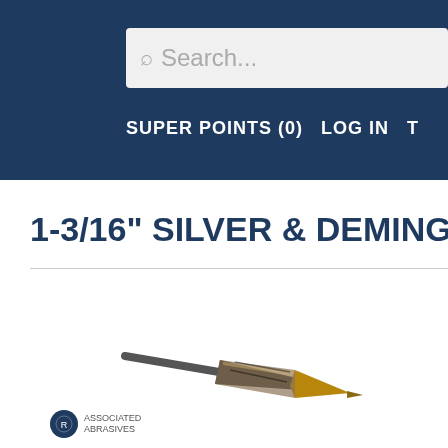Search... SUPER POINTS (0)  LOG IN
1-3/16" SILVER & DEMING
[Figure (photo): A silver and deming drill bit with a gold/bronze tip and dark shank, shown diagonally on a white background.]